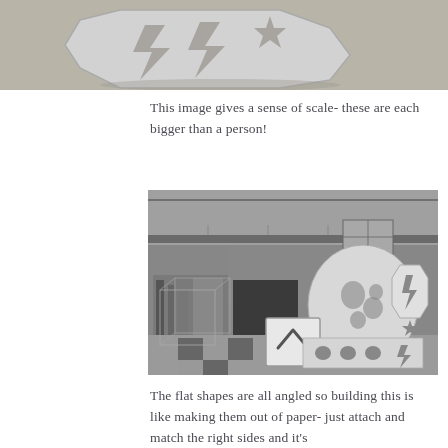[Figure (photo): Close-up photo of a large metallic geometric sculptural piece with cut-out star and lightning bolt shapes, placed on sandy ground]
This image gives a sense of scale- these are each bigger than a person!
[Figure (photo): Interior of a large industrial workshop/warehouse with large white metallic sculptural pieces with ornate cut-out decorative patterns (hearts, swirls, stars, lightning bolts). A transparent wireframe cube structure is visible on the left, and the sculptures are leaning against the wall.]
The flat shapes are all angled so building this is like making them out of paper- just attach and match the right sides and it's